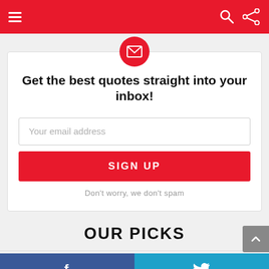Navigation bar with hamburger menu, search and share icons
[Figure (illustration): Red circle with white envelope/mail icon centered above the signup card]
Get the best quotes straight into your inbox!
Your email address
SIGN UP
Don't worry, we don't spam
OUR PICKS
[Figure (illustration): Gray scroll-to-top button with upward arrow]
Facebook and Twitter social share bar at bottom